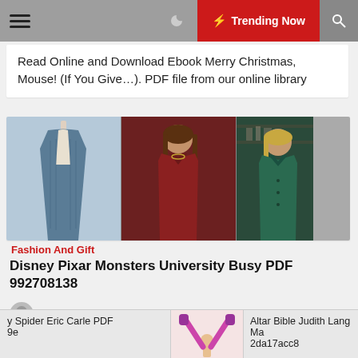≡  ☽  ⚡ Trending Now  🔍
Read Online and Download Ebook Merry Christmas, Mouse! (If You Give…). PDF file from our online library
[Figure (photo): Fashion collage: three panels showing a blue cardigan on mannequin, a woman in red coat, a woman in teal coat, and a gray placeholder panel]
Fashion And Gift
Disney Pixar Monsters University Busy PDF 992708138
y Spider Eric Carle PDF 9e
[Figure (photo): Middle bottom strip image: figure with pink/purple legs raised in air]
Altar Bible Judith Lang Ma 2da17acc8